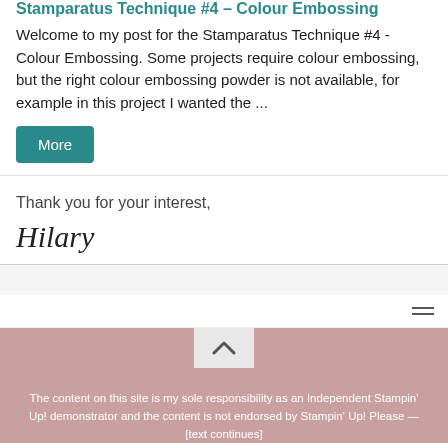Stamparatus Technique #4 – Colour Embossing
Welcome to my post for the Stamparatus Technique #4 - Colour Embossing. Some projects require colour embossing, but the right colour embossing powder is not available, for example in this project I wanted the ...
More
Thank you for your interest,
Hilary
The content on this site is my sole responsibility as an Independent Stampin' Up! demonstrator and the content is not endorsed by Stampin' Up! Please – [text continues]